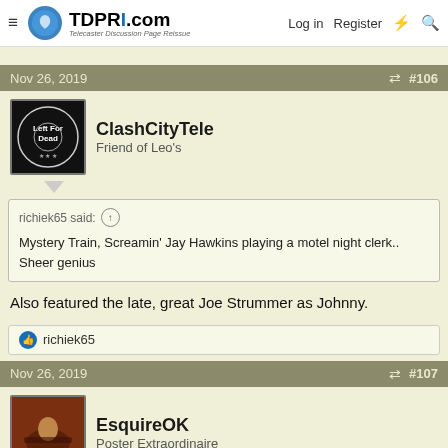TDPRI.com Telecaster Discussion Page Reissue — Log in  Register
Nov 26, 2019  #106
ClashCityTele
Friend of Leo's
richiek65 said: ↑

Mystery Train, Screamin' Jay Hawkins playing a motel night clerk.. Sheer genius
Also featured the late, great Joe Strummer as Johnny.
richiek65
Nov 26, 2019  #107
EsquireOK
Poster Extraordinaire